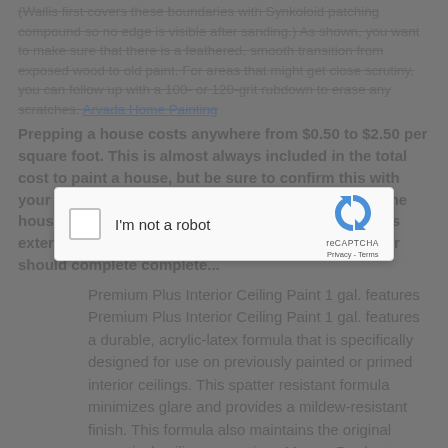(Wallis first covers these boundaries with Synkoloid patching compound so no edge is visible after sanding.) As shown, you want to make sure that there is a feathered, smooth transition from exposed wood to old paint. For areas that might get close scrutiny, you can follow up with a 100- or 120-grit rubdown to erase any scratches. Arvada Home Painting
Prepping a house costs anywhere from $0.50 to $2.50 per square foot. This is almost always included in the total cost to paint a house, but be sure to confirm this with your painter. Costs can depend on the condition of the house. Be sure to check the condition of your home's exterior during the estimates. The painting contractor should complete...
[Figure (screenshot): reCAPTCHA dialog box with checkbox 'I'm not a robot' and reCAPTCHA logo with Privacy - Terms links]
Premium Plus Interior Ceiling Paint 1 gal. features Premium Plus Interior Ceiling Paint 1 gal. features a durable, acrylic-latex formula that is specifically designed for use on previously painted or primed interior ceilings. This spatter resistant formula minimizes glare and provides a mildew-resistant finish. This formula also maintains the original acoustical ceiling properties. More + Product Details Close Arvada House Painting